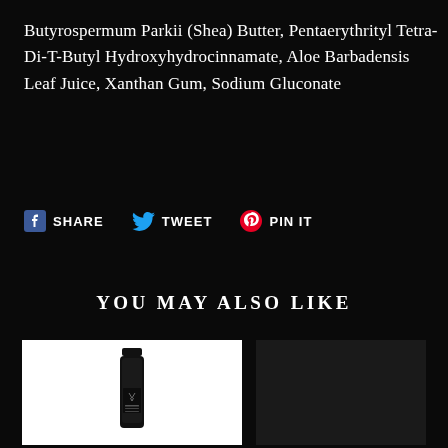Butyrospermum Parkii (Shea) Butter, Pentaerythrityl Tetra-Di-T-Butyl Hydroxyhydrocinnamate, Aloe Barbadensis Leaf Juice, Xanthan Gum, Sodium Gluconate
[Figure (infographic): Social sharing buttons row: Facebook Share, Twitter Tweet, Pinterest Pin It]
YOU MAY ALSO LIKE
[Figure (photo): Product bottle - black slim serum/lotion bottle with brand logo and label text, on white background card]
[Figure (photo): Dark/black product image placeholder area]